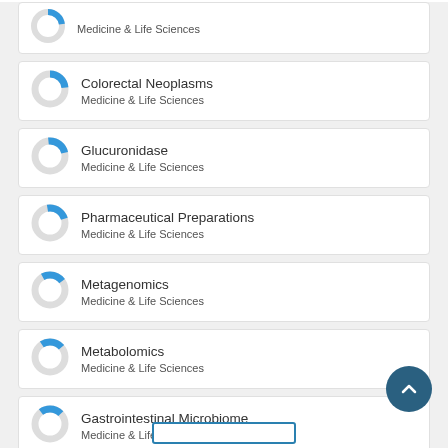Medicine & Life Sciences (partial top card)
Colorectal Neoplasms - Medicine & Life Sciences
Glucuronidase - Medicine & Life Sciences
Pharmaceutical Preparations - Medicine & Life Sciences
Metagenomics - Medicine & Life Sciences
Metabolomics - Medicine & Life Sciences
Gastrointestinal Microbiome - Medicine & Life Sciences